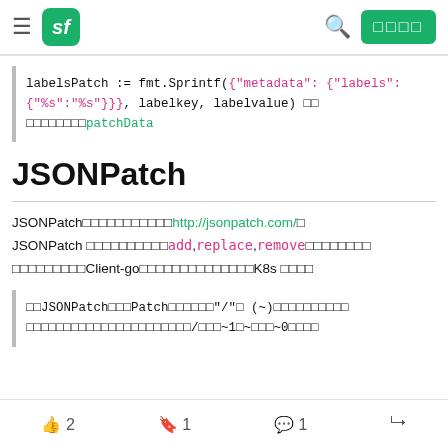sf [logo] [search] [signin button]
labelsPatch := fmt.Sprintf({"metadata": {"labels":{"%s":"%s"}}}, labelkey, labelvalue) □□ □□□□□□□□patchData
JSONPatch
JSONPatch□□□□□□□□□□□http://jsonpatch.com/□ JSONPatch □□□□□□□□□□add,replace,remove□□□□□□□□□ □□□□□□□□□Client-go□□□□□□□□□□□□□□K8s □□□□
□□JSONPatch□□□Patch□□□□□□"/"□ (~)□□□□□□□□□□□ □□□□□□□□□□□□□□□□□□□□□□/□□□~1□~□□□~0□□□□
👍 2   🔖 1   💬 1   share